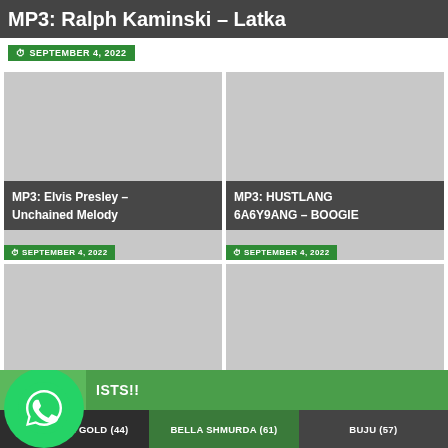MP3: Ralph Kaminski – Latka
SEPTEMBER 4, 2022
[Figure (screenshot): Card thumbnail gray placeholder for MP3: Elvis Presley – Unchained Melody]
MP3: Elvis Presley – Unchained Melody
SEPTEMBER 4, 2022
[Figure (screenshot): Card thumbnail gray placeholder for MP3: HUSTLANG 6A6Y9ANG – BOOGIE]
MP3: HUSTLANG 6A6Y9ANG – BOOGIE
SEPTEMBER 4, 2022
[Figure (screenshot): Card thumbnail gray placeholder for MP3: Oceans Ate Alaska – Disparity]
MP3: Oceans Ate Alaska – Disparity
SEPTEMBER 4, 2022
[Figure (screenshot): Card thumbnail gray placeholder for MP3: Oceans Ate Alaska – Sol]
MP3: Oceans Ate Alaska – Sol
SEPTEMBER 4, 2022
[Figure (logo): WhatsApp logo circle icon]
ISTS!!
ADEKUNLE GOLD (44)
BELLA SHMURDA (61)
BUJU (57)